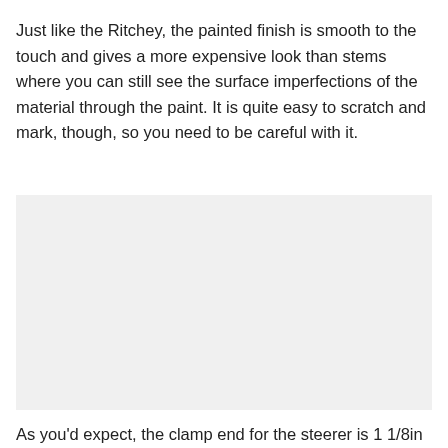Just like the Ritchey, the painted finish is smooth to the touch and gives a more expensive look than stems where you can still see the surface imperfections of the material through the paint. It is quite easy to scratch and mark, though, so you need to be careful with it.
[Figure (photo): A light gray rectangular placeholder image area]
As you'd expect, the clamp end for the steerer is 1 1/8in